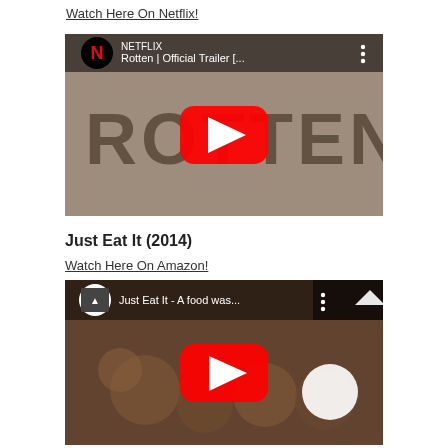Watch Here On Netflix!
[Figure (screenshot): YouTube embedded video thumbnail for 'Rotten | Official Trailer [...]' on Netflix channel, showing the word ROTTEN in large letters with a red YouTube play button in the center, Netflix logo and channel icon in top-left, three-dot menu in top-right.]
Just Eat It (2014)
Watch Here On Amazon!
[Figure (screenshot): YouTube embedded video thumbnail for 'Just Eat It - A food was...' showing food in the background with a red YouTube play button in the center, channel icon in top-left, a white circle on right side, and a menu overlay in top-right corner.]